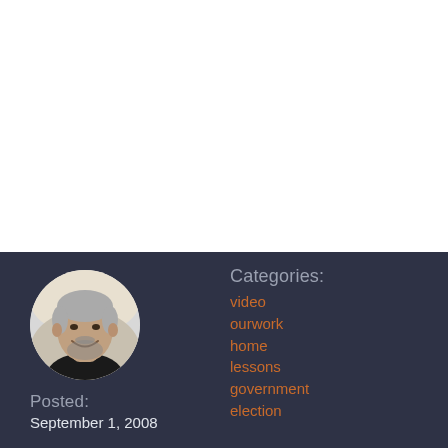[Figure (photo): Circular avatar photo of a middle-aged man with gray hair and beard, smiling, wearing a black shirt, with a blurred light background.]
Posted:
September 1, 2008
Categories:
video
ourwork
home
lessons
government
election